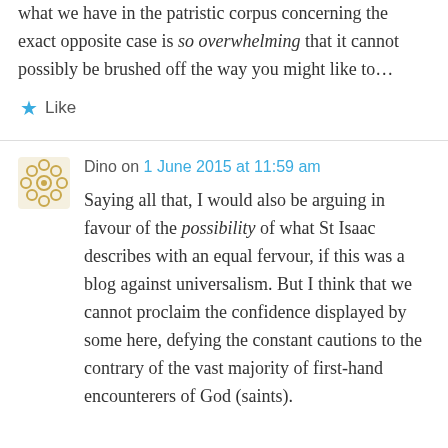what we have in the patristic corpus concerning the exact opposite case is so overwhelming that it cannot possibly be brushed off the way you might like to…
★ Like
Dino on 1 June 2015 at 11:59 am
Saying all that, I would also be arguing in favour of the possibility of what St Isaac describes with an equal fervour, if this was a blog against universalism. But I think that we cannot proclaim the confidence displayed by some here, defying the constant cautions to the contrary of the vast majority of first-hand encounterers of God (saints).